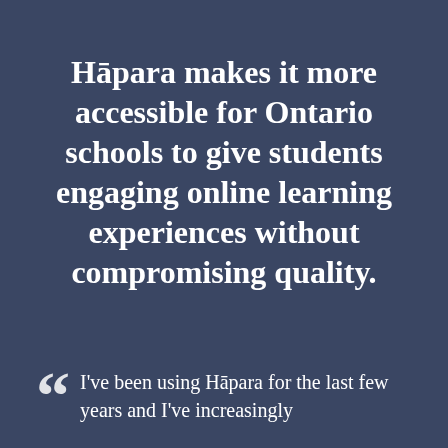Hāpara makes it more accessible for Ontario schools to give students engaging online learning experiences without compromising quality.
I've been using Hāpara for the last few years and I've increasingly